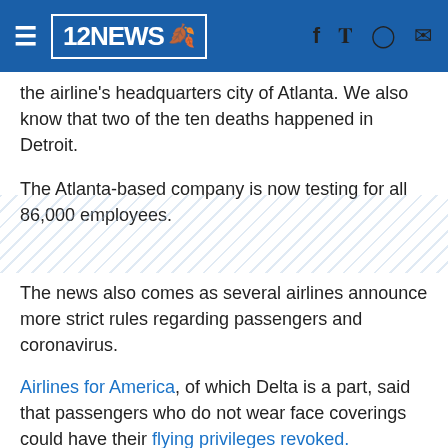12NEWS
the airline's headquarters city of Atlanta. We also know that two of the ten deaths happened in Detroit.
The Atlanta-based company is now testing for all 86,000 employees.
The news also comes as several airlines announce more strict rules regarding passengers and coronavirus.
Airlines for America, of which Delta is a part, said that passengers who do not wear face coverings could have their flying privileges revoked.
A spokesperson for Delta Air Lines acknowledged that the company, like others, is taking a strict stance on health safety.